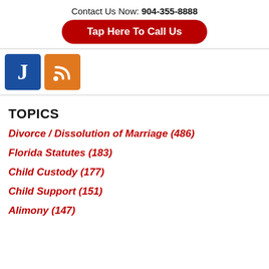Contact Us Now: 904-355-8888
Tap Here To Call Us
[Figure (logo): Blue square logo with white letter J and orange square RSS feed icon]
TOPICS
Divorce / Dissolution of Marriage (486)
Florida Statutes (183)
Child Custody (177)
Child Support (151)
Alimony (147)